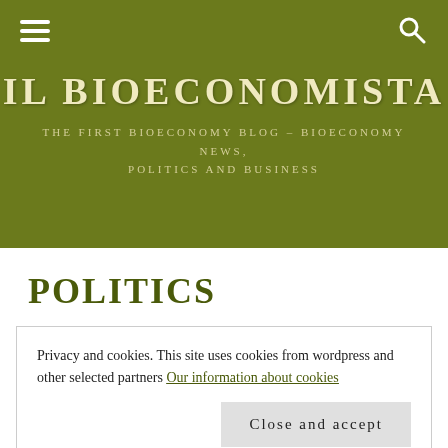IL BIOECONOMISTA – THE FIRST BIOECONOMY BLOG – BIOECONOMY NEWS, POLITICS AND BUSINESS
IL BIOECONOMISTA
THE FIRST BIOECONOMY BLOG – BIOECONOMY NEWS, POLITICS AND BUSINESS
POLITICS
Privacy and cookies. This site uses cookies from wordpress and other selected partners Our information about cookies
Close and accept